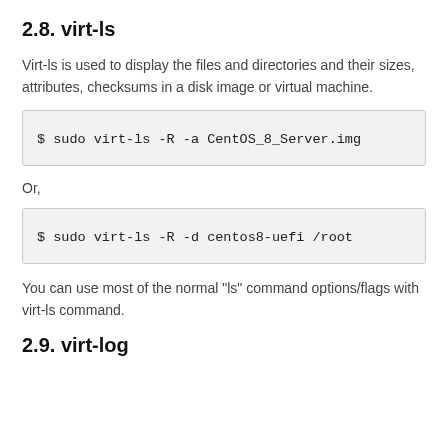2.8. virt-ls
Virt-ls is used to display the files and directories and their sizes, attributes, checksums in a disk image or virtual machine.
$ sudo virt-ls -R -a CentOS_8_Server.img
Or,
$ sudo virt-ls -R -d centos8-uefi /root
You can use most of the normal "ls" command options/flags with virt-ls command.
2.9. virt-log